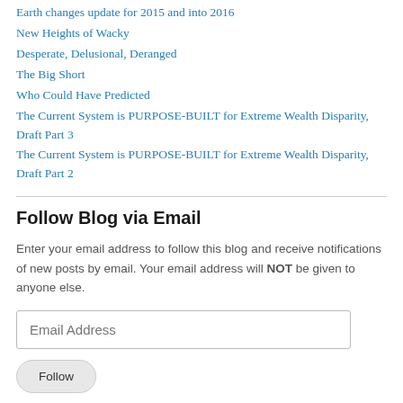Earth changes update for 2015 and into 2016
New Heights of Wacky
Desperate, Delusional, Deranged
The Big Short
Who Could Have Predicted
The Current System is PURPOSE-BUILT for Extreme Wealth Disparity, Draft Part 3
The Current System is PURPOSE-BUILT for Extreme Wealth Disparity, Draft Part 2
Follow Blog via Email
Enter your email address to follow this blog and receive notifications of new posts by email. Your email address will NOT be given to anyone else.
Email Address
Follow